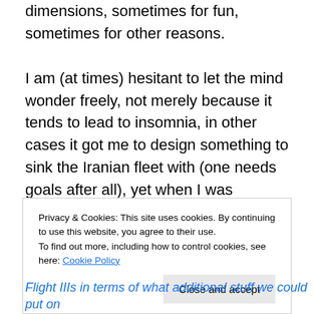dimensions, sometimes for fun, sometimes for other reasons.

I am (at times) hesitant to let the mind wonder freely, not merely because it tends to lead to insomnia, in other cases it got me to design something to sink the Iranian fleet with (one needs goals after all), yet when I was rethinking the weapon and its delivery system I considered that this solution would also work on that ugly American contraption called the Zumwalt class, and lets be fair, that thing is way too ugly to not make it sink, especially as
Privacy & Cookies: This site uses cookies. By continuing to use this website, you agree to their use.
To find out more, including how to control cookies, see here: Cookie Policy
Close and accept
Flight IIIs in terms of what additional stuff we could put on